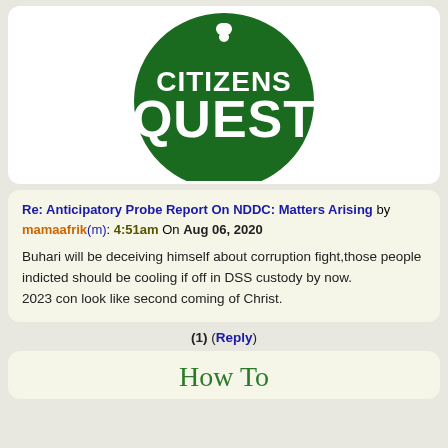[Figure (logo): Citizens Quest logo: dark green circle with white text 'CITIZENS QUEST' and an exclamation mark with a dot at top]
Re: Anticipatory Probe Report On NDDC: Matters Arising by mamaafrik(m): 4:51am On Aug 06, 2020
Buhari will be deceiving himself about corruption fight,those people indicted should be cooling if off in DSS custody by now.
2023 con look like second coming of Christ.
(1) (Reply)
How To